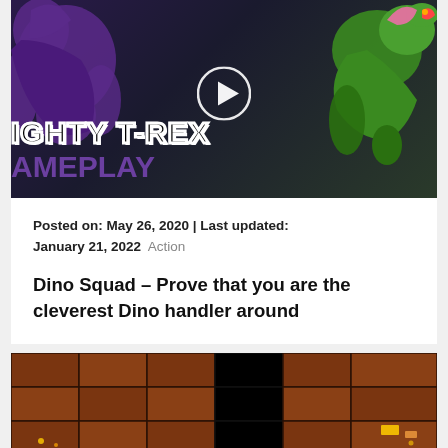[Figure (screenshot): Thumbnail image showing dinosaur gameplay with text 'MIGHTY T-REX GAMEPLAY', purple dinosaur silhouette on left, green T-Rex on right, play button in center, dark background]
Posted on: May 26, 2020 | Last updated: January 21, 2022  Action
Dino Squad – Prove that you are the cleverest Dino handler around
[Figure (screenshot): Game screenshot showing pixelated brown/orange brick terrain with dark background, some glowing elements in bottom corners]